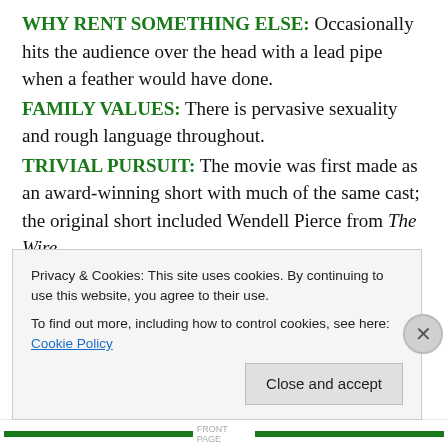WHY RENT SOMETHING ELSE: Occasionally hits the audience over the head with a lead pipe when a feather would have done.
FAMILY VALUES: There is pervasive sexuality and rough language throughout.
TRIVIAL PURSUIT: The movie was first made as an award-winning short with much of the same cast; the original short included Wendell Pierce from The Wire.
NOTABLE DVD EXTRAS: Featurettes about the importance of wardrobe to the film and to Alike's self-identity, and a walk through the streets of Brooklyn; also
Privacy & Cookies: This site uses cookies. By continuing to use this website, you agree to their use.
To find out more, including how to control cookies, see here: Cookie Policy
Close and accept